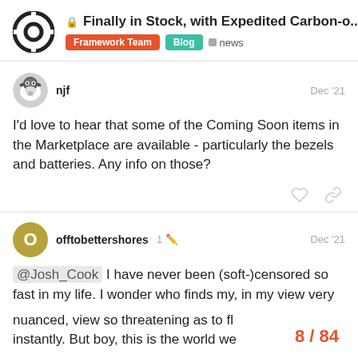Finally in Stock, with Expedited Carbon-o... | Framework Team | Blog | news
njf Dec '21
I'd love to hear that some of the Coming Soon items in the Marketplace are available - particularly the bezels and batteries. Any info on those?
offtobettershores 1 Dec '21
@Josh_Cook I have never been (soft-)censored so fast in my life. I wonder who finds my, in my view very nuanced, view so threatening as to fl instantly. But boy, this is the world we
8 / 84